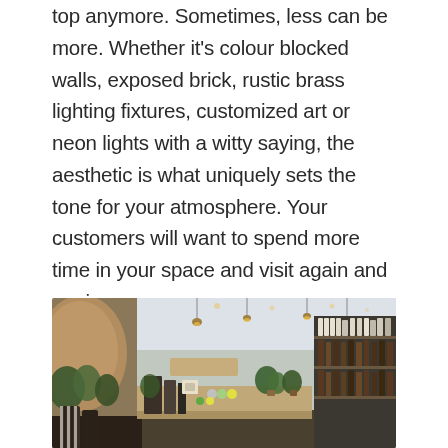top anymore. Sometimes, less can be more. Whether it's colour blocked walls, exposed brick, rustic brass lighting fixtures, customized art or neon lights with a witty saying, the aesthetic is what uniquely sets the tone for your atmosphere. Your customers will want to spend more time in your space and visit again and again.
[Figure (photo): Interior of a modern cafe or retail space showing a counter area with plants, wooden decor, pendant lighting on the ceiling, and shelving units on the right side filled with products.]